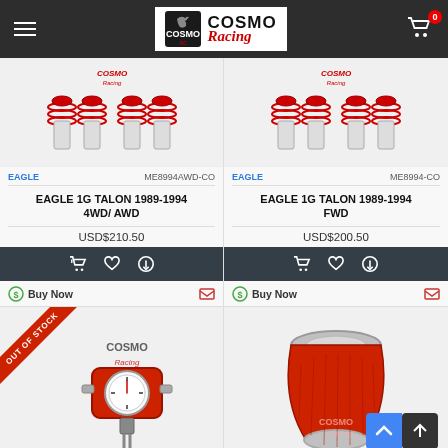[Figure (screenshot): Cosmo Racing website header with hamburger menu, logo, and cart icon with 0 badge]
[Figure (photo): Product image: coilover suspension kit for Eagle 1G Talon 4WD/AWD, red springs on white background]
EAGLE   ME8994AWD-CO
EAGLE 1G TALON 1989-1994 4WD/ AWD
USD$210.50
[Figure (other): Action buttons: add to cart, wishlist, compare]
Buy Now
[Figure (photo): Product image: coilover suspension kit for Eagle 1G Talon FWD, red springs on white background]
EAGLE   ME8994-CO
EAGLE 1G TALON 1989-1994 FWD
USD$200.50
[Figure (other): Action buttons: add to cart, wishlist, compare]
Buy Now
[Figure (photo): OUT OF STOCK product: red fuel pressure regulator with gauge, Cosmo Racing branded]
[Figure (photo): Product image: red/chrome cone air intake filter]